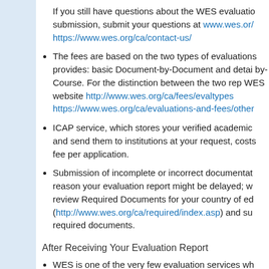If you still have questions about the WES evaluation submission, submit your questions at www.wes.or/ https://www.wes.org/ca/contact-us/
The fees are based on the two types of evaluations provides: basic Document-by-Document and detail by-Course. For the distinction between the two rep WES website http://www.wes.org/ca/fees/evaltypes https://www.wes.org/ca/evaluations-and-fees/other
ICAP service, which stores your verified academic and send them to institutions at your request, costs fee per application.
Submission of incomplete or incorrect documentation reason your evaluation report might be delayed; we review Required Documents for your country of ed (http://www.wes.org/ca/required/index.asp) and su required documents.
After Receiving Your Evaluation Report
WES is one of the very few evaluation services wh